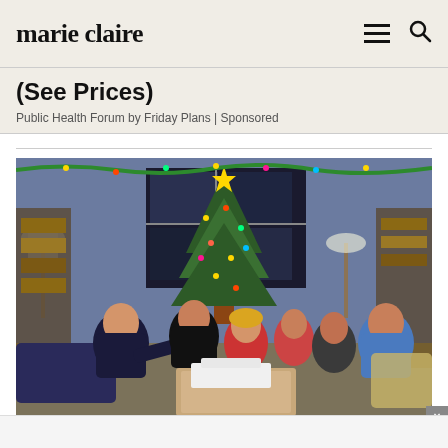marie claire
(See Prices)
Public Health Forum by Friday Plans | Sponsored
[Figure (photo): Group of six people sitting around a coffee table in a TV show set decorated for Christmas, with a large decorated tree in the background and holiday lights. Scene appears to be from the TV show Friends.]
Kaufcom GmbH
Babsy Baby singing Twinkle
OPEN